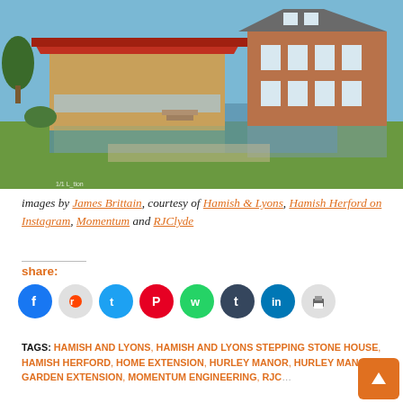[Figure (photo): Exterior photograph of a modern timber and glass extension with a red roof beside a pond, with a traditional brick manor house visible to the right, set in a green lawn landscape on a clear winter day.]
images by James Brittain, courtesy of Hamish & Lyons, Hamish Herford on Instagram, Momentum and RJClyde
share:
[Figure (infographic): Row of social media sharing icon buttons: Facebook (blue), Reddit (light grey), Twitter (blue), Pinterest (red), WhatsApp (green), Tumblr (dark navy), LinkedIn (blue), Print (light grey)]
TAGS: HAMISH AND LYONS, HAMISH AND LYONS STEPPING STONE HOUSE, HAMISH HERFORD, HOME EXTENSION, HURLEY MANOR, HURLEY MANOR GARDEN EXTENSION, MOMENTUM ENGINEERING, RJC...